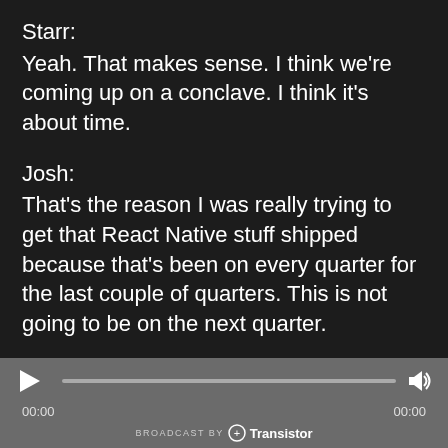Starr:
Yeah. That makes sense. I think we're coming up on a conclave. I think it's about time.
Josh:
That's the reason I was really trying to get that React Native stuff shipped because that's been on every quarter for the last couple of quarters. This is not going to be on the next quarter.
Starr:
I should really go check my quarterly things. I
[Figure (screenshot): Audio player bar with play button, progress bar showing 00:00, volume icon, and 'BROADCAST BY Transistor' footer on a gray background]